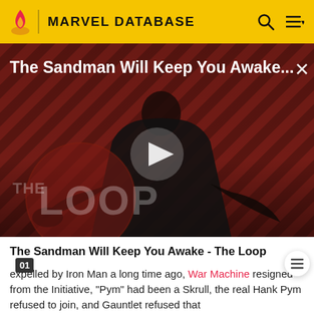MARVEL DATABASE
[Figure (screenshot): Video thumbnail for 'The Sandman Will Keep You Awake...' showing a dark-clothed figure on a red diagonal striped background with 'THE LOOP' logo watermark and a play button in the center.]
The Sandman Will Keep You Awake - The Loop
expelled by Iron Man a long time ago, War Machine resigned from the Initiative, "Pym" had been a Skrull, the real Hank Pym refused to join, and Gauntlet refused that